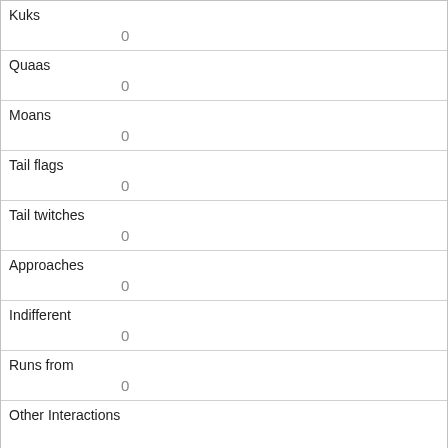| Kuks | 0 |
| Quaas | 0 |
| Moans | 0 |
| Tail flags | 0 |
| Tail twitches | 0 |
| Approaches | 0 |
| Indifferent | 0 |
| Runs from | 0 |
| Other Interactions |  |
| Lat/Long | POINT (-73.9666007935638 40.7845098131567) |